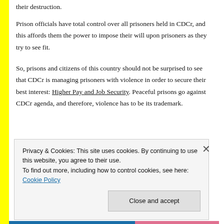their destruction.
Prison officials have total control over all prisoners held in CDCr, and this affords them the power to impose their will upon prisoners as they try to see fit.
So, prisons and citizens of this country should not be surprised to see that CDCr is managing prisoners with violence in order to secure their best interest: Higher Pay and Job Security. Peaceful prisons go against CDCr agenda, and therefore, violence has to be its trademark.
Privacy & Cookies: This site uses cookies. By continuing to use this website, you agree to their use.
To find out more, including how to control cookies, see here: Cookie Policy
Close and accept